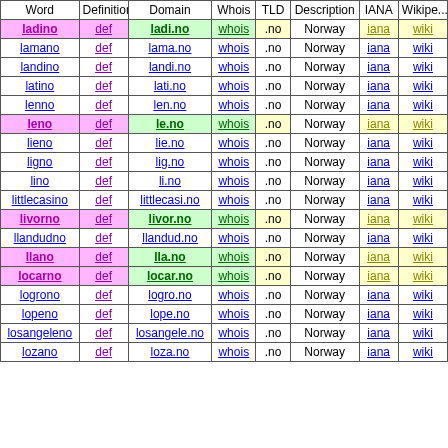| Word | Definition | Domain | Whois | TLD | Description | IANA | Wikipedia |
| --- | --- | --- | --- | --- | --- | --- | --- |
| ladino | def | ladi.no | whois | .no | Norway | iana | wiki |
| lamano | def | lama.no | whois | .no | Norway | iana | wiki |
| landino | def | landi.no | whois | .no | Norway | iana | wiki |
| latino | def | lati.no | whois | .no | Norway | iana | wiki |
| lenno | def | len.no | whois | .no | Norway | iana | wiki |
| leno | def | le.no | whois | .no | Norway | iana | wiki |
| lieno | def | lie.no | whois | .no | Norway | iana | wiki |
| ligno | def | lig.no | whois | .no | Norway | iana | wiki |
| lino | def | li.no | whois | .no | Norway | iana | wiki |
| littlecasino | def | littlecasi.no | whois | .no | Norway | iana | wiki |
| livorno | def | livor.no | whois | .no | Norway | iana | wiki |
| llandudno | def | llandud.no | whois | .no | Norway | iana | wiki |
| llano | def | lla.no | whois | .no | Norway | iana | wiki |
| locarno | def | locar.no | whois | .no | Norway | iana | wiki |
| logrono | def | logro.no | whois | .no | Norway | iana | wiki |
| lopeno | def | lope.no | whois | .no | Norway | iana | wiki |
| losangeleno | def | losangele.no | whois | .no | Norway | iana | wiki |
| lozano | def | loza.no | whois | .no | Norway | iana | wiki |